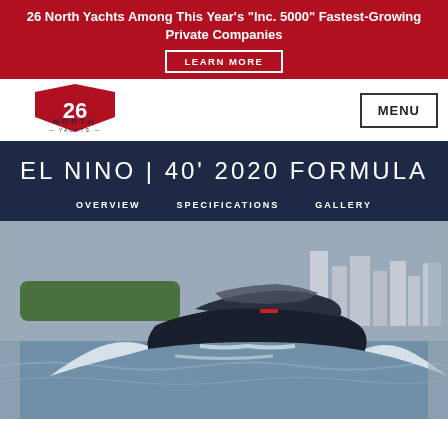26 North Yachts Among This Year's "Inc. 5000" Fastest-Growing Private Companies
LEARN MORE
[Figure (logo): 26 North Yachts logo with anchor and compass design]
MENU
EL NINO | 40' 2020 FORMULA
OVERVIEW   SPECIFICATIONS   GALLERY
[Figure (photo): A Formula 40 motorboat named El Nino speeding across water with city buildings and green trees in the background, creating large spray waves on both sides]